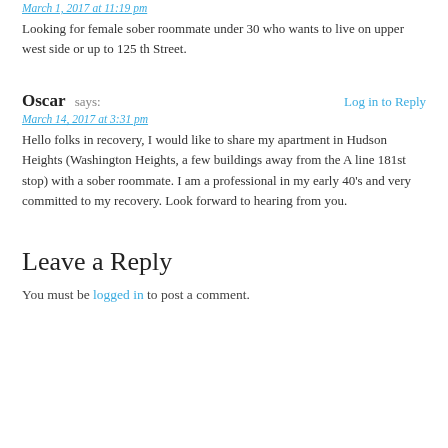March 1, 2017 at 11:19 pm
Looking for female sober roommate under 30 who wants to live on upper west side or up to 125 th Street.
Oscar says:
Log in to Reply
March 14, 2017 at 3:31 pm
Hello folks in recovery, I would like to share my apartment in Hudson Heights (Washington Heights, a few buildings away from the A line 181st stop) with a sober roommate. I am a professional in my early 40's and very committed to my recovery. Look forward to hearing from you.
Leave a Reply
You must be logged in to post a comment.